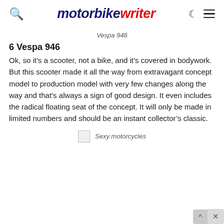motorbike writer
Vespa 946
6 Vespa 946
Ok, so it's a scooter, not a bike, and it's covered in bodywork. But this scooter made it all the way from extravagant concept model to production model with very few changes along the way and that's always a sign of good design. It even includes the radical floating seat of the concept. It will only be made in limited numbers and should be an instant collector's classic.
Sexy motorcycles